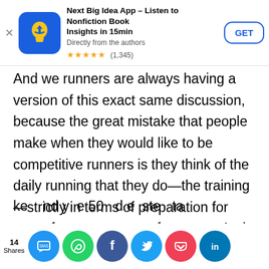[Figure (screenshot): App store banner for 'Next Big Idea App – Listen to Nonfiction Book Insights in 15min', with blue lightbulb icon, 5-star rating (1,345 reviews), and GET button]
And we runners are always having a version of this exact same discussion, because the great mistake that people make when they would like to be competitive runners is they think of the daily running that they do—the training—strictly in terms of preparation for some future race or performance. And as a result, you lose sight of why you became a runner in the first place. You forget that the joy of just going for a run is what attracted you as a seven-year-old. Then you ke…nd y…e 50…d e…ste…ta… a Tu…ay e…ng c…our r…arou…he
[Figure (screenshot): Social share bar at bottom showing 14 Shares and icons for: SMS/share app (blue), WhatsApp (green), Facebook (dark blue), Twitter (cyan), Pocket (red), LinkedIn (dark blue)]